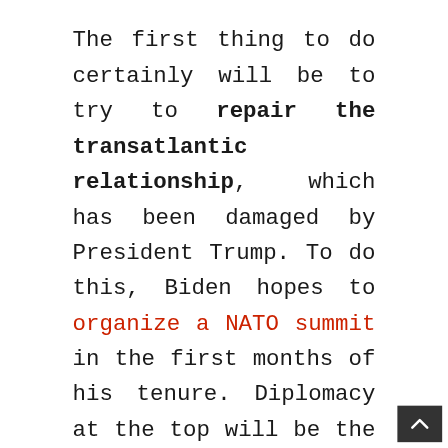The first thing to do certainly will be to try to repair the transatlantic relationship, which has been damaged by President Trump. To do this, Biden hopes to organize a NATO summit in the first months of his tenure. Diplomacy at the top will be the perfect opportunity for the US president to show that the United States is back and wants to strengthen ties with its allies. Biden is clear in this regard, this summit will serve to mark the return of the United States to the heart of the international game.

Biden also wants to reaffirm American